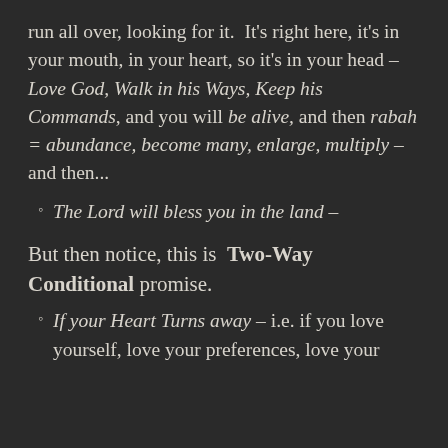run all over, looking for it. It's right here, it's in your mouth, in your heart, so it's in your head – Love God, Walk in his Ways, Keep his Commands, and you will be alive, and then rabah = abundance, become many, enlarge, multiply – and then...
The Lord will bless you in the land –
But then notice, this is Two-Way Conditional promise.
If your Heart Turns away – i.e. if you love yourself, love your preferences, love your